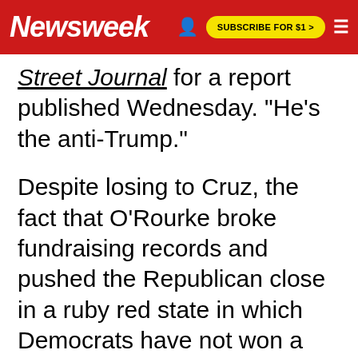Newsweek | SUBSCRIBE FOR $1 >
Street Journal for a report published Wednesday. "He's the anti-Trump."
Despite losing to Cruz, the fact that O'Rourke broke fundraising records and pushed the Republican close in a ruby red state in which Democrats have not won a state-wide race in a quarter of a century earned him national recognition. There are currently two groups attempting to draft him to run for the Democratic nomination to take on President Donald Trump in the 2020 election and he has